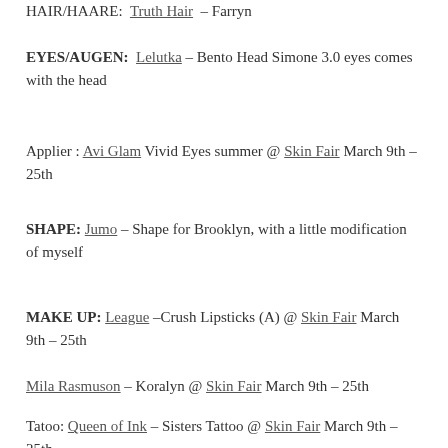HAIR/HAARE:  Truth Hair  – Farryn
EYES/AUGEN:  Lelutka – Bento Head Simone 3.0 eyes comes with the head
Applier : Avi Glam  Vivid Eyes summer @ Skin Fair March 9th – 25th
SHAPE: Jumo –  Shape for Brooklyn, with a little modification of myself
MAKE UP: League –Crush Lipsticks (A) @ Skin Fair March 9th – 25th
Mila Rasmuson – Koralyn @ Skin Fair March 9th – 25th
Tatoo: Queen of Ink –  Sisters Tattoo @ Skin Fair March 9th – 25th